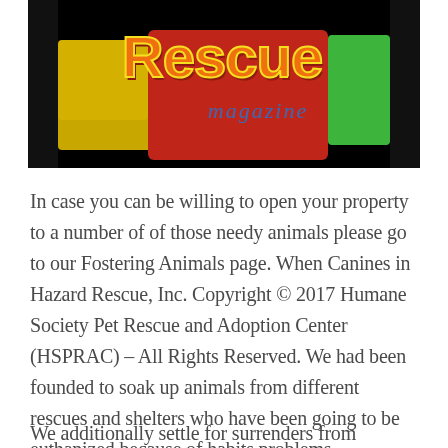[Figure (photo): Colorful stylized image showing the word 'Rescue' in large orange/red letters with yellow outline and 'magazine' in blue cursive script below, set against a dark background with red, yellow, and green colored blocks]
In case you can be willing to open your property to a number of of those needy animals please go to our Fostering Animals page. When Canines in Hazard Rescue, Inc. Copyright © 2017 Humane Society Pet Rescue and Adoption Center (HSPRAC) – All Rights Reserved. We had been founded to soak up animals from different rescues and shelters who have been going to be euthanized because of habits problems, overpopulated shelters, or monetary burden.
We additionally settle for surrenders from families